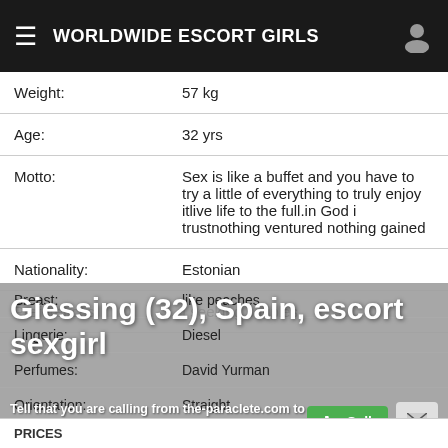WORLDWIDE ESCORT GIRLS
| Weight: | 57 kg |
| Age: | 32 yrs |
| Motto: | Sex is like a buffet and you have to try a little of everything to truly enjoy itlive life to the full.in God i trustnothing ventured nothing gained |
| Nationality: | Estonian |
| Preferences: | I seeking couples |
| Breast: | like peaches |
| Lingerie: | Diesel |
| Perfumes: | David Yurman |
| Orientation: | Straight |
Giessing (32), Spain, escort sexgirl
Tell that you are calling from the-paraclete.com to increase your chances of getting a discount.
PRICES